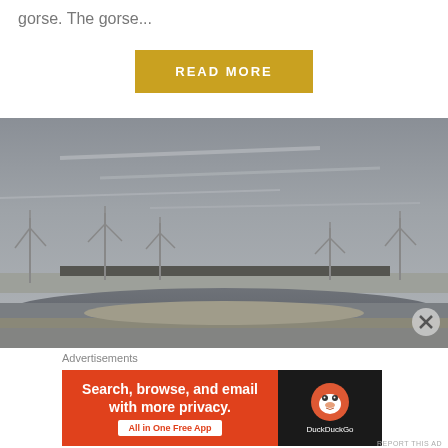gorse. The gorse...
READ MORE
[Figure (photo): Landscape photo showing wind turbines along a flat horizon with a river or waterway in the foreground under a grey overcast sky]
Advertisements
[Figure (screenshot): DuckDuckGo advertisement banner: orange left panel with text 'Search, browse, and email with more privacy. All in One Free App' and dark right panel with DuckDuckGo logo and duck icon]